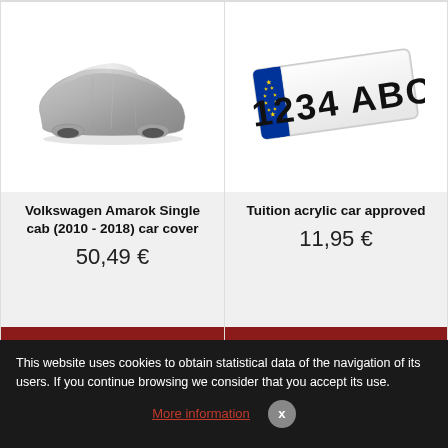[Figure (photo): Car covered with a grey protective cover, side view]
[Figure (photo): Spanish car license plate showing '1234 ABC' with EU blue strip on left side marked 'E']
Volkswagen Amarok Single cab (2010 - 2018) car cover
50,49 €
SEE PRODUCT
Tuition acrylic car approved
11,95 €
ADD TO CART
This website uses cookies to obtain statistical data of the navigation of its users. If you continue browsing we consider that you accept its use.
More information
x